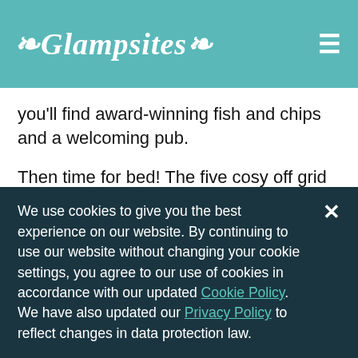Glampsites
you'll find award-winning fish and chips and a welcoming pub.
Then time for bed! The five cosy off grid pods each sleep up to a family of four (bring your own bedding) with a kingsize double and two small children's beds suitable for up to about 11/12 years old with bumpers for toddlers. Plus room for a travel cot. Each pod has a
We use cookies to give you the best experience on our website. By continuing to use our website without changing your cookie settings, you agree to our use of cookies in accordance with our updated Cookie Policy. We have also updated our Privacy Policy to reflect changes in data protection law.